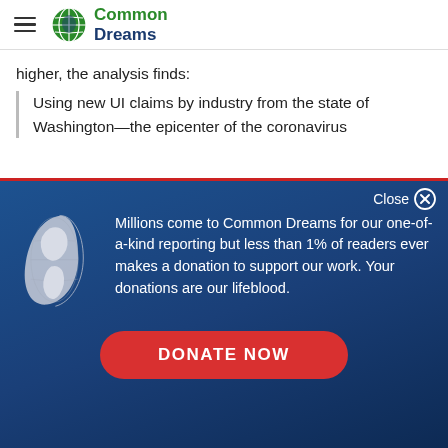Common Dreams
higher, the analysis finds:
Using new UI claims by industry from the state of Washington—the epicenter of the coronavirus
[Figure (screenshot): Common Dreams donation modal overlay with globe icon, text about readership and donations, and a DONATE NOW button on dark blue background]
Millions come to Common Dreams for our one-of-a-kind reporting but less than 1% of readers ever makes a donation to support our work. Your donations are our lifeblood.
DONATE NOW